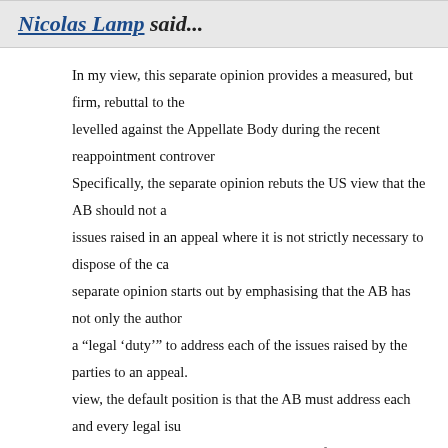Nicolas Lamp said...
In my view, this separate opinion provides a measured, but firm, rebuttal to the criticisms levelled against the Appellate Body during the recent reappointment controversy. Specifically, the separate opinion rebuts the US view that the AB should not address issues raised in an appeal where it is not strictly necessary to dispose of the case. The separate opinion starts out by emphasising that the AB has not only the authority, but a "legal 'duty'" to address each of the issues raised by the parties to an appeal. In its view, the default position is that the AB must address each and every legal issue raised by the parties. The separate opinion then qualifies this somewhat by conceding that "addressing an issue" does not necessarily mean that the AB has to make "specific findings" on the claim in question; instead, it can confine itself to explaining why there is no need to resolve the issue. However, the separate opinion then immediately qualifies this qualification by noting that whether "addressing" the issue in this way is appropriate is for the Appellate Body to decide in light of the particular circumstances of each case. Importantly, these "circumstances" are not limited to the question of whether the AB can dispose of the case without ruling on the issue, but also include "the nature of, and relationship between, the relevant claims on appeal, as well as their implications..."